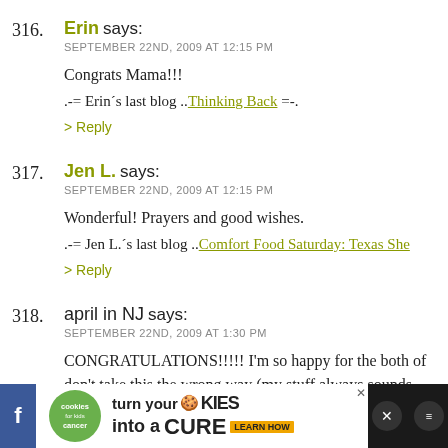316. Erin says: SEPTEMBER 22ND, 2009 AT 12:15 PM — Congrats Mama!!! .-= Erin´s last blog ..Thinking Back =-. > Reply
317. Jen L. says: SEPTEMBER 22ND, 2009 AT 12:15 PM — Wonderful! Prayers and good wishes. .-= Jen L.´s last blog ..Comfort Food Saturday: Texas She > Reply
318. april in NJ says: SEPTEMBER 22ND, 2009 AT 1:30 PM — CONGRATULATIONS!!!!! I'm so happy for the both of don't take this the wrong way (my stuff always sounds head)... I know that no baby can ever replace Maddie, b
[Figure (screenshot): Advertisement banner: cookies for kids cancer - turn your cookies into a CURE LEARN HOW]